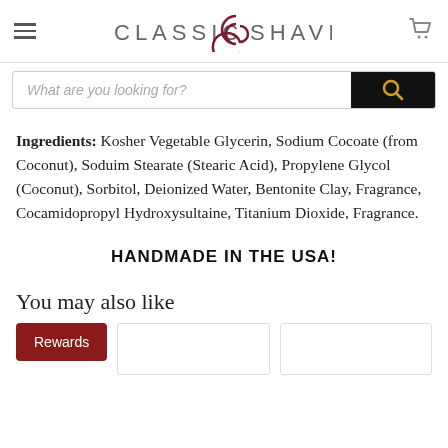Classic Shaving
What are you looking for?
Ingredients: Kosher Vegetable Glycerin, Sodium Cocoate (from Coconut), Soduim Stearate (Stearic Acid), Propylene Glycol (Coconut), Sorbitol, Deionized Water, Bentonite Clay, Fragrance, Cocamidopropyl Hydroxysultaine, Titanium Dioxide, Fragrance.
HANDMADE IN THE USA!
You may also like